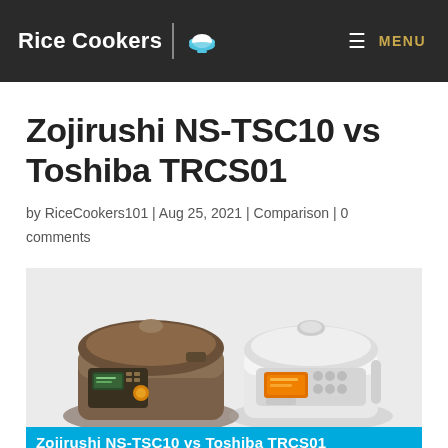Rice Cookers | MENU
Zojirushi NS-TSC10 vs Toshiba TRCS01
by RiceCookers101 | Aug 25, 2021 | Comparison | 0 comments
[Figure (photo): Two rice cookers side by side: Zojirushi NS-TSC10 (dark brown/metallic, left) and Toshiba TRCS01 (white, right), with caption bar 'Zojirushi NS-TSC10 vs Toshiba TRCS01']